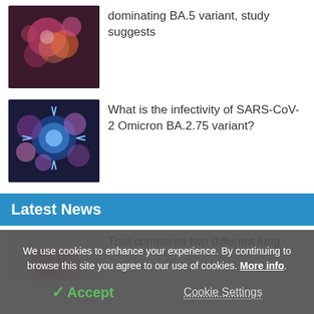[Figure (photo): Microscopic image of viral particles, colorful abstract render with pink and orange tones]
dominating BA.5 variant, study suggests
[Figure (photo): Microscopic image of SARS-CoV-2 virus particles, blue and purple tones]
What is the infectivity of SARS-CoV-2 Omicron BA.2.75 variant?
Latest News
[Figure (photo): Partial image of lungs or medical illustration]
Trial compares two different lung
We use cookies to enhance your experience. By continuing to browse this site you agree to our use of cookies. More info.
✓ Accept
Cookie Settings